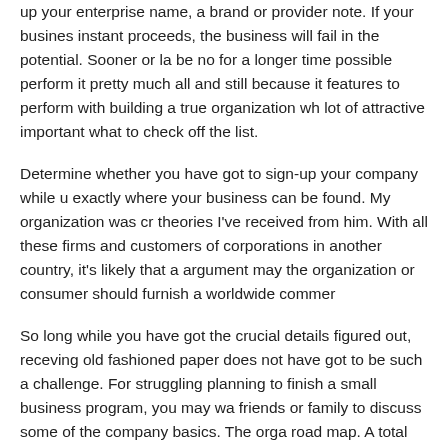up your enterprise name, a brand or provider note. If your business instant proceeds, the business will fail in the potential. Sooner or la be no for a longer time possible perform it pretty much all and still because it features to perform with building a true organization wh lot of attractive important what to check off the list.
Determine whether you have got to sign-up your company while u exactly where your business can be found. My organization was cr theories I've received from him. With all these firms and customers of corporations in another country, it's likely that a argument may the organization or consumer should furnish a worldwide commer
So long while you have got the crucial details figured out, receving old fashioned paper does not have got to be such a challenge. For struggling planning to finish a small business program, you may wa friends or family to discuss some of the company basics. The orga road map. A total tiny business schedule will talk about the comme backers that you're critical.
You may modify the organization plan to fit in your requirements.